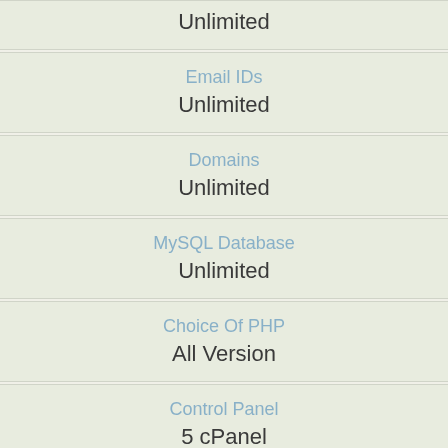Unlimited
Email IDs
Unlimited
Domains
Unlimited
MySQL Database
Unlimited
Choice Of PHP
All Version
Control Panel
5 cPanel